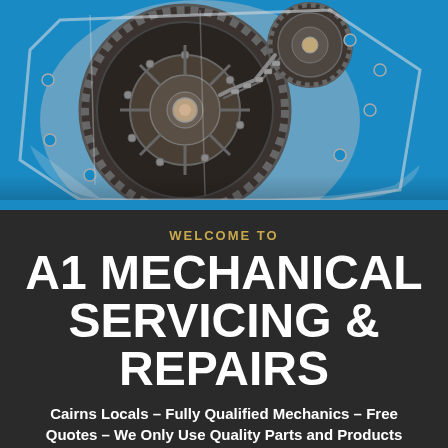[Figure (photo): Close-up photo of automotive engine gears and timing chain assembly, cut away view showing internal components, set against a blue background]
WELCOME TO
A1 MECHANICAL SERVICING & REPAIRS
Cairns Locals – Fully Qualified Mechanics – Free Quotes – We Only Use Quality Parts and Products
That's why at A1 Mechanical Servicing & Repairs,